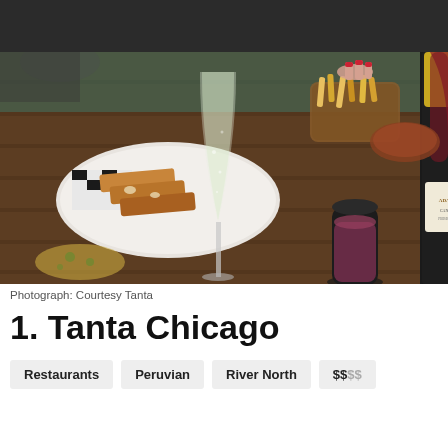[Figure (photo): Restaurant table scene showing a champagne flute with a light green drink, toasted sandwich on a black-and-white checkered plate, a dark bottle of sparkling wine with yellow capsule (Canei brand), a small dark carafe with pink/purple drink, a basket of food being reached for by someone with red nails, and partial view of a red wine glass on the right. Wooden slatted table surface.]
Photograph: Courtesy Tanta
1. Tanta Chicago
Restaurants | Peruvian | River North | $$$$